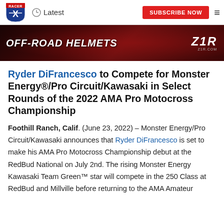Racer X | Latest | SUBSCRIBE NOW
[Figure (illustration): Z1R Off-Road Helmets advertisement banner with dark red background, helmet image, and Z1R logo]
Ryder DiFrancesco to Compete for Monster Energy®/Pro Circuit/Kawasaki in Select Rounds of the 2022 AMA Pro Motocross Championship
Foothill Ranch, Calif. (June 23, 2022) – Monster Energy/Pro Circuit/Kawasaki announces that Ryder DiFrancesco is set to make his AMA Pro Motocross Championship debut at the RedBud National on July 2nd. The rising Monster Energy Kawasaki Team Green™ star will compete in the 250 Class at RedBud and Millville before returning to the AMA Amateur